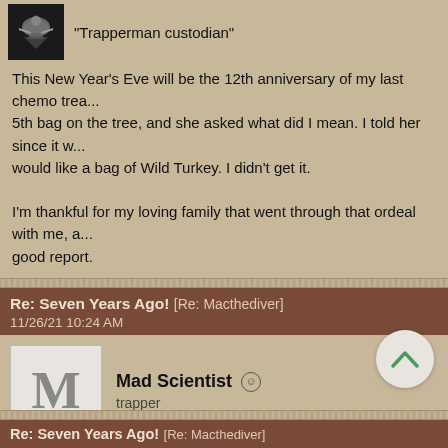"Trapperman custodian"
This New Year's Eve will be the 12th anniversary of my last chemo trea... 5th bag on the tree, and she asked what did I mean. I told her since it w... would like a bag of Wild Turkey. I didn't get it.

I'm thankful for my loving family that went through that ordeal with me, a... good report.
Re: Seven Years Ago! [Re: Macthediver]
11/26/21 10:24 AM
Mad Scientist trapper
Every day is a blessing Mac enjoy each one.Hope to see an 8 years ag...